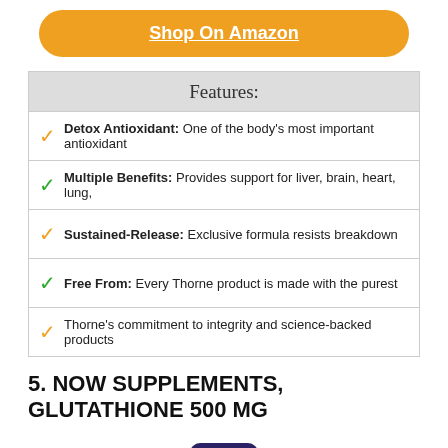[Figure (other): Orange rounded rectangle button with text 'Shop On Amazon' (underlined, white, bold)]
| Features: |
| --- |
| ✓ Detox Antioxidant: One of the body's most important antioxidant |
| ✓ Multiple Benefits: Provides support for liver, brain, heart, lung, |
| ✓ Sustained-Release: Exclusive formula resists breakdown |
| ✓ Free From: Every Thorne product is made with the purest |
| ✓ Thorne's commitment to integrity and science-backed products |
5. NOW SUPPLEMENTS, GLUTATHIONE 500 MG
[Figure (photo): A white supplement bottle with a dark blue/purple cap labeled 'now Glutathione' with an orange and white label design.]